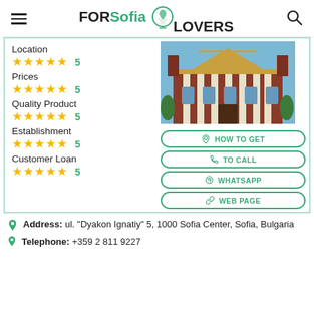FOR Sofia LOVERS
Location ★★★★★ 5
Prices ★★★★★ 5
Quality Product ★★★★★ 5
Establishment ★★★★★ 5
Customer Loan ★★★★★ 5
[Figure (photo): Photo of a classical European building with columns and ornate facade, likely a church or cultural institution in Sofia, Bulgaria]
HOW TO GET
TO CALL
WHATSAPP
WEB PAGE
Address: ul. "Dyakon Ignatiy" 5, 1000 Sofia Center, Sofia, Bulgaria
Telephone: +359 2 811 9227